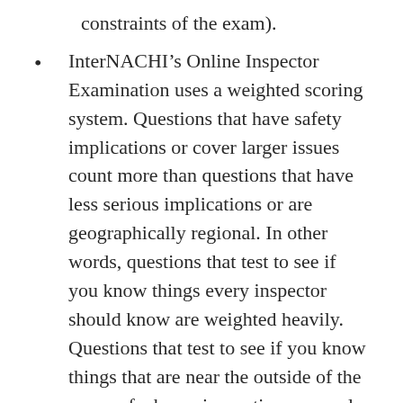constraints of the exam).
InterNACHI’s Online Inspector Examination uses a weighted scoring system. Questions that have safety implications or cover larger issues count more than questions that have less serious implications or are geographically regional. In other words, questions that test to see if you know things every inspector should know are weighted heavily. Questions that test to see if you know things that are near the outside of the scope of a home inspection, or newly introduced, untested questions are weighted lightly.